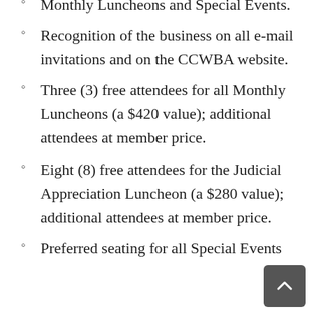Monthly Luncheons and Special Events.
Recognition of the business on all e-mail invitations and on the CCWBA website.
Three (3) free attendees for all Monthly Luncheons (a $420 value); additional attendees at member price.
Eight (8) free attendees for the Judicial Appreciation Luncheon (a $280 value); additional attendees at member price.
Preferred seating for all Special Events